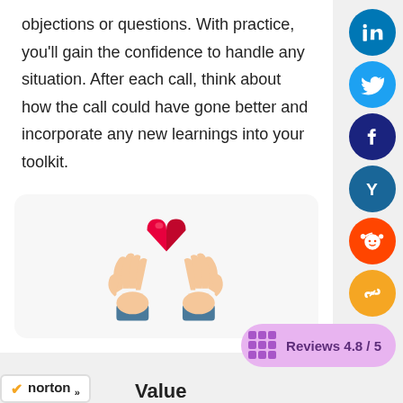objections or questions. With practice, you'll gain the confidence to handle any situation. After each call, think about how the call could have gone better and incorporate any new learnings into your toolkit.
[Figure (illustration): Two hands cupping a red heart, with blue sleeves at the wrists, on a light grey rounded card background.]
[Figure (infographic): Social share sidebar with LinkedIn, Twitter, Facebook, Yammer, Reddit, and link icons as colored circles on the right edge.]
[Figure (infographic): Reviews 4.8 / 5 pill badge in purple/lavender color with a grid icon.]
[Figure (logo): Norton security badge in bottom left corner.]
Value